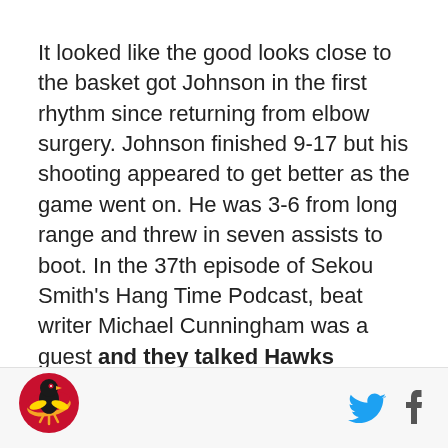It looked like the good looks close to the basket got Johnson in the first rhythm since returning from elbow surgery. Johnson finished 9-17 but his shooting appeared to get better as the game went on. He was 3-6 from long range and threw in seven assists to boot. In the 37th episode of Sekou Smith's Hang Time Podcast, beat writer Michael Cunningham was a guest and they talked Hawks basketball and Joe Johnson amongst other subjects.Cunningham said that Johnson has missed a lot of open shots this
[Figure (logo): Atlanta Hawks logo — red/gold winged bird emblem]
[Figure (logo): Twitter bird icon in light blue]
[Figure (logo): Facebook f icon in dark gray]